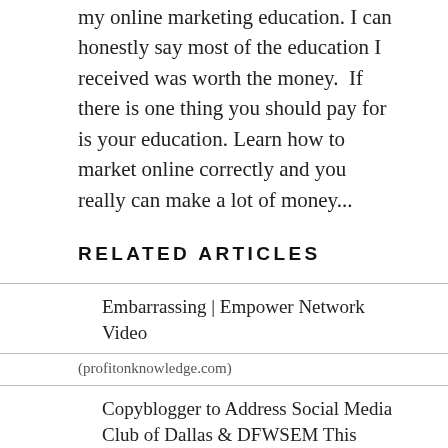my online marketing education. I can honestly say most of the education I received was worth the money.  If there is one thing you should pay for is your education. Learn how to market online correctly and you really can make a lot of money...
RELATED ARTICLES
Embarrassing | Empower Network Video
(profitonknowledge.com)
Copyblogger to Address Social Media Club of Dallas & DFWSEM This Wednesday
(iliveindallas.com)